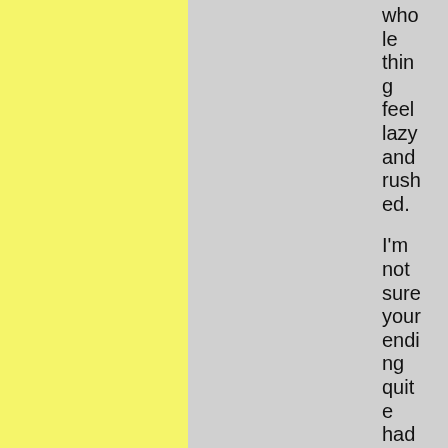whole thing feel lazy and rushed.

I'm not sure your ending quite had the poignan
[Figure (other): Yellow panel on the left side of the page]
[Figure (other): Gray panel in the middle of the page]